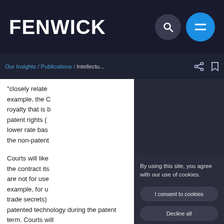FENWICK
/ Our Insights / Publications / Intellectu...
"closely relate example, the C royalty that is b patent rights ( lower rate bas the non-patent
Courts will like the contract its are not for use example, for u trade secrets) patented technology during the patent term. Courts will
By using this site, you agree with our use of cookies.
I consent to cookies
Decline all
Want to know more?
Privacy policy